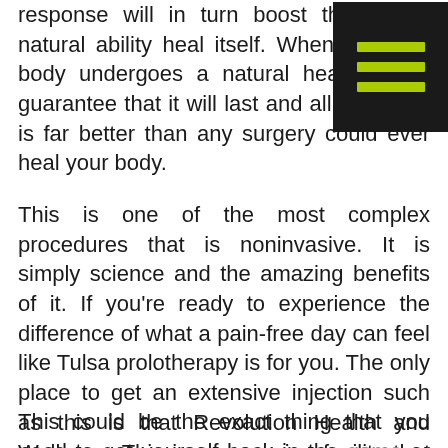response will in turn boost the body's natural ability heal itself. Whenever your body undergoes a natural healing your guarantee that it will last and all that. This is far better than any surgery could ever heal your body.
This is one of the most complex procedures that is noninvasive. It is simply science and the amazing benefits of it. If you're ready to experience the difference of what a pain-free day can feel like Tulsa prolotherapy is for you. The only place to get an extensive injection such as this is that Revolution Health and Wellness. This is an amazing facility that make you feel right at home while experiencing the relief comfort you need. If you're ready to change the way you feel forever check out how this prolotherapy procedure can drastically improve your life.
This could be the exact thing that you need to get yourself back in the game or off the couch this